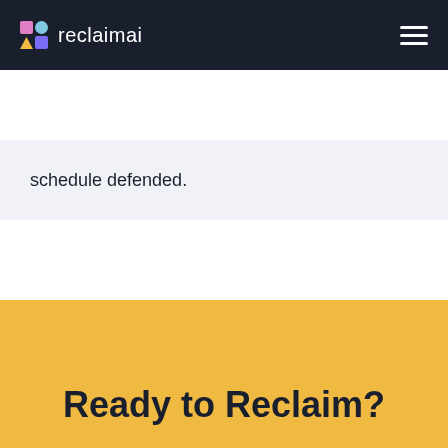reclaimai
schedule defended.
Ready to Reclaim?
Try it out